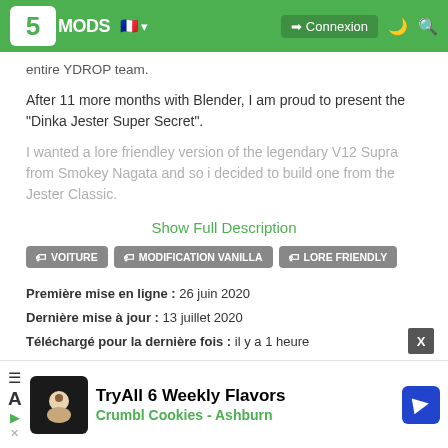5MODS – Connexion
...Blender and after about 4 months the first successes ...n, which would not have been possible without the entire YDROP team.
After 11 more months with Blender, I am proud to present the "Dinka Jester Super Secret".
I wanted a lore friendley version of the legendary V12 Supra from Smokey Nagata and so i decided to build one from the Jester Classic.
Show Full Description
VOITURE
MODIFICATION VANILLA
LORE FRIENDLY
Première mise en ligne : 26 juin 2020
Dernière mise à jour : 13 juillet 2020
Téléchargé pour la dernière fois : il y a 1 heure
[Figure (screenshot): Advertisement banner for Crumbl Cookies - TryAll 6 Weekly Flavors, Ashburn]